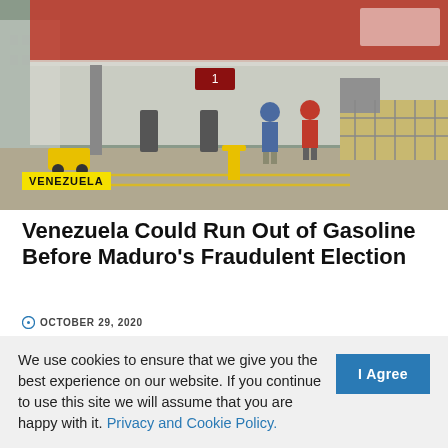[Figure (photo): A gas station with a red and white canopy. Two people stand near fuel pumps. A large flatbed truck is parked on the right. Residential buildings visible in background.]
VENEZUELA
Venezuela Could Run Out of Gasoline Before Maduro's Fraudulent Election
OCTOBER 29, 2020
[Figure (illustration): Open envelope icon with a document/letter inside showing horizontal lines of text]
We use cookies to ensure that we give you the best experience on our website. If you continue to use this site we will assume that you are happy with it. Privacy and Cookie Policy.